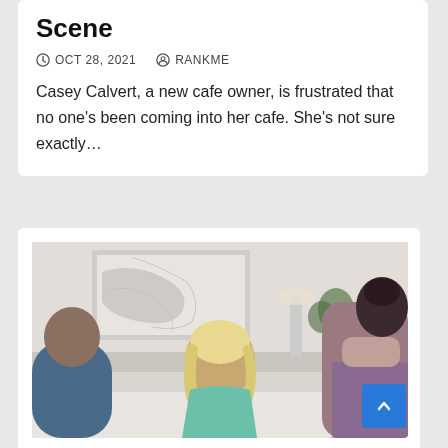Scene
OCT 28, 2021   RANKME
Casey Calvert, a new cafe owner, is frustrated that no one's been coming into her cafe. She's not sure exactly…
[Figure (photo): Two women and a man on a couch in a living room setting. One woman is blonde wearing a teal top, the other has dark hair in an updo wearing a purple/lavender outfit, seen from behind. A man in a blue shirt is partially visible on the left.]